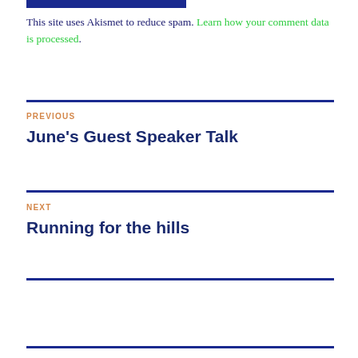[Figure (other): Blue horizontal bar at top of page]
This site uses Akismet to reduce spam. Learn how your comment data is processed.
PREVIOUS
June's Guest Speaker Talk
NEXT
Running for the hills